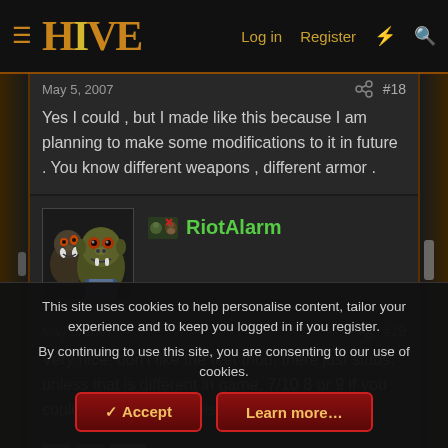HIVE — Log in  Register
May 5, 2007  #18
Yes I could , but I made like this because I am planning to make some modifications to it in future . You know different weapons , different armor .
RiotAlarm  May 5, 2007  #19
Very nice, don't like the feet thou, there just stubs, unless that is different in game. 7/10 8 or 9 if you could do all the things listed on the comments.
This site uses cookies to help personalise content, tailor your experience and to keep you logged in if you register.
By continuing to use this site, you are consenting to our use of cookies.
Accept  Learn more…